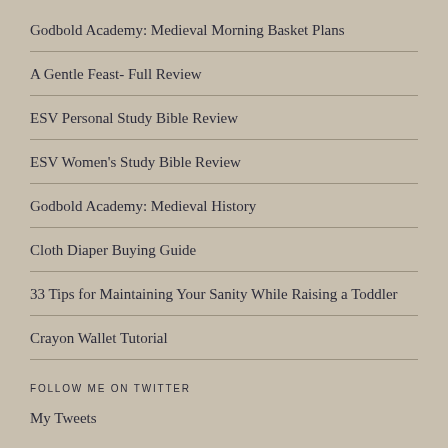Godbold Academy: Medieval Morning Basket Plans
A Gentle Feast- Full Review
ESV Personal Study Bible Review
ESV Women's Study Bible Review
Godbold Academy: Medieval History
Cloth Diaper Buying Guide
33 Tips for Maintaining Your Sanity While Raising a Toddler
Crayon Wallet Tutorial
FOLLOW ME ON TWITTER
My Tweets